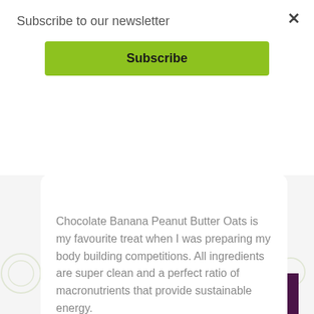Subscribe to our newsletter
Subscribe
Butter Oats
Chocolate Banana Peanut Butter Oats is my favourite treat when I was preparing my body building competitions. All ingredients are super clean and a perfect ratio of macronutrients that provide sustainable energy.
Read More...